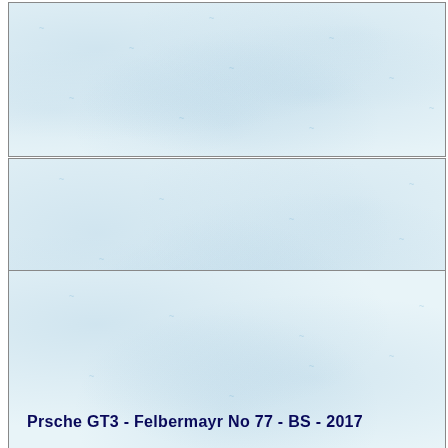[Figure (other): Light blue decorative card panel with watermark-like pattern, top section]
Prsche GT3 - Felbermayr - No 77 - Le Mans - 2009
[Figure (other): Light blue decorative card panel with watermark-like pattern, bottom section]
Prsche GT3 - Felbermayr No 77 - BS - 2017